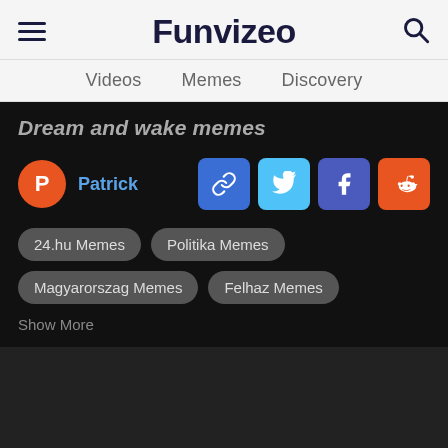Funvizeo
Videos  Memes  Discovery
Dream and wake memes
Patrick
24.hu Memes
Politika Memes
Magyarorszag Memes
Felhaz Memes
Show More